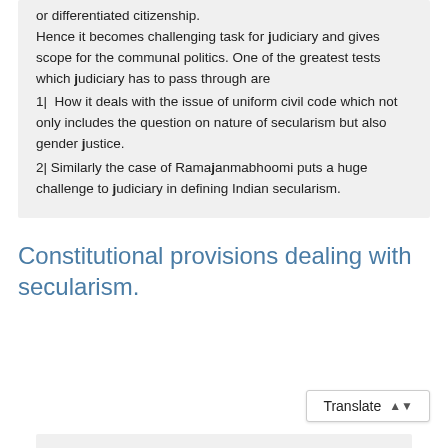or differentiated citizenship. Hence it becomes challenging task for judiciary and gives scope for the communal politics. One of the greatest tests which judiciary has to pass through are
1| How it deals with the issue of uniform civil code which not only includes the question on nature of secularism but also gender justice.
2| Similarly the case of Ramajanmabhoomi puts a huge challenge to judiciary in defining Indian secularism.
Constitutional provisions dealing with secularism.
Translate